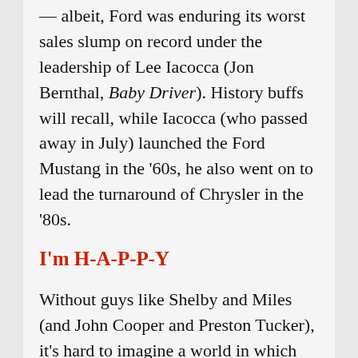— albeit, Ford was enduring its worst sales slump on record under the leadership of Lee Iacocca (Jon Bernthal, Baby Driver). History buffs will recall, while Iacocca (who passed away in July) launched the Ford Mustang in the '60s, he also went on to lead the turnaround of Chrysler in the '80s.
I'm H-A-P-P-Y
Without guys like Shelby and Miles (and John Cooper and Preston Tucker), it's hard to imagine a world in which Elon Musk becomes the